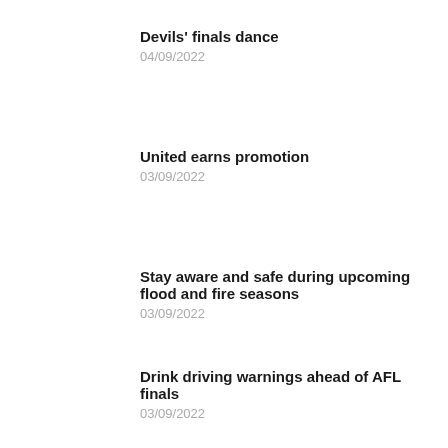Devils' finals dance
04/09/2022
United earns promotion
03/09/2022
Stay aware and safe during upcoming flood and fire seasons
03/09/2022
Drink driving warnings ahead of AFL finals
03/09/2022